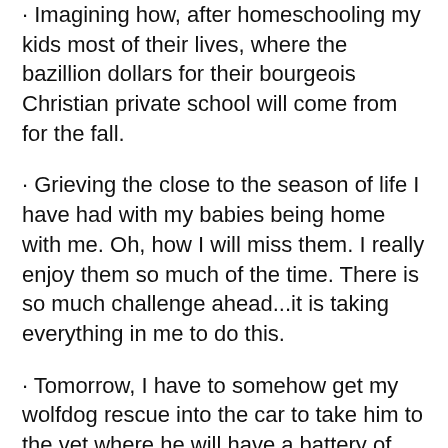· Imagining how, after homeschooling my kids most of their lives, where the bazillion dollars for their bourgeois Christian private school will come from for the fall.
· Grieving the close to the season of life I have had with my babies being home with me. Oh, how I will miss them. I really enjoy them so much of the time. There is so much challenge ahead...it is taking everything in me to do this.
· Tomorrow, I have to somehow get my wolfdog rescue into the car to take him to the vet where he will have a battery of tests. I don't know if he has allergies or cancer...or something in between, like heartworm. But he is 10, does